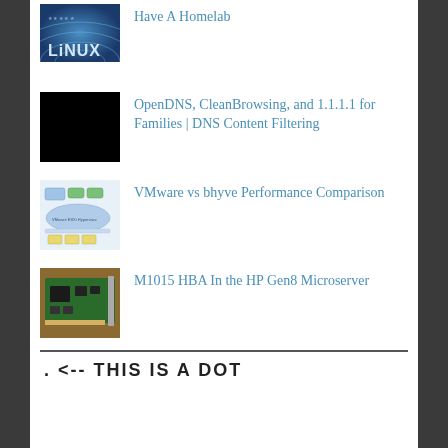Have A Homelab
OpenDNS, CleanBrowsing, and 1.1.1.1 for Families | DNS Content Filtering
VMware vs bhyve Performance Comparison
M1015 HBA In the HP Gen8 Microserver
. <-- THIS IS A DOT